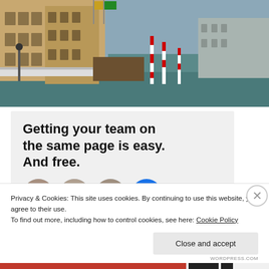[Figure (photo): Aerial or bridge-level view of the Grand Canal in Venice, Italy, showing historic buildings with Venetian architecture along the left bank, red-and-white striped mooring poles, a wooden dock, and calm green-gray water.]
Getting your team on the same page is easy. And free.
[Figure (photo): Row of circular avatar profile photos: a woman with dark hair, a woman with curly brown hair, a man with short dark hair, and a blue circle with a white plus icon.]
Privacy & Cookies: This site uses cookies. By continuing to use this website, you agree to their use.
To find out more, including how to control cookies, see here: Cookie Policy
Close and accept